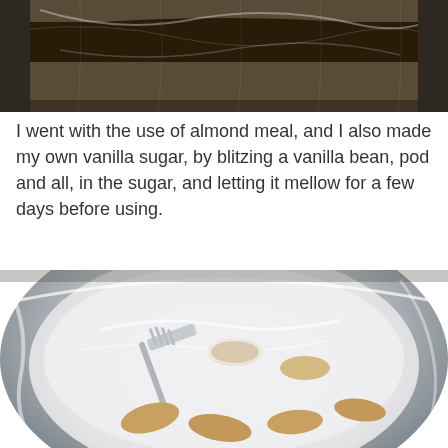[Figure (photo): Close-up photo of a vanilla bean pod in plastic wrap on a dark surface]
I went with the use of almond meal, and I also made my own vanilla sugar, by blitzing a vanilla bean, pod and all, in the sugar, and letting it mellow for a few days before using.
[Figure (photo): Cookies being rolled in powdered vanilla sugar in a stainless steel bowl with a fork]